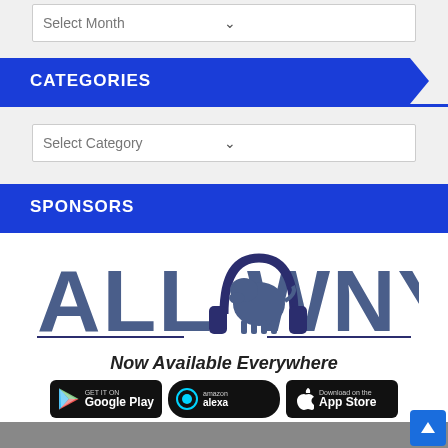Select Month
CATEGORIES
Select Category
SPONSORS
[Figure (logo): ALL WNY logo with bison wearing headphones. Text: ALL WNY — Now Available Everywhere. Below: Google Play, Amazon Alexa, and App Store badges.]